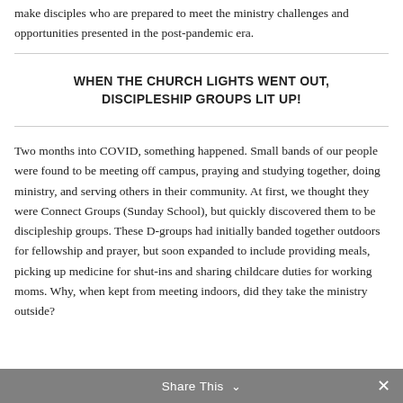make disciples who are prepared to meet the ministry challenges and opportunities presented in the post-pandemic era.
WHEN THE CHURCH LIGHTS WENT OUT, DISCIPLESHIP GROUPS LIT UP!
Two months into COVID, something happened. Small bands of our people were found to be meeting off campus, praying and studying together, doing ministry, and serving others in their community. At first, we thought they were Connect Groups (Sunday School), but quickly discovered them to be discipleship groups. These D-groups had initially banded together outdoors for fellowship and prayer, but soon expanded to include providing meals, picking up medicine for shut-ins and sharing childcare duties for working moms. Why, when kept from meeting indoors, did they take the ministry outside?
Share This ∨ ✕